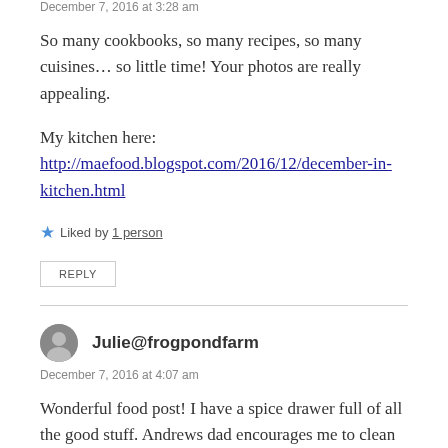December 7, 2016 at 3:28 am
So many cookbooks, so many recipes, so many cuisines… so little time! Your photos are really appealing.
My kitchen here:
http://maefood.blogspot.com/2016/12/december-in-kitchen.html
★ Liked by 1 person
REPLY
Julie@frogpondfarm
December 7, 2016 at 4:07 am
Wonderful food post! I have a spice drawer full of all the good stuff. Andrews dad encourages me to clean it out 😀 love the hell F! You are always so busy in your kitchen …